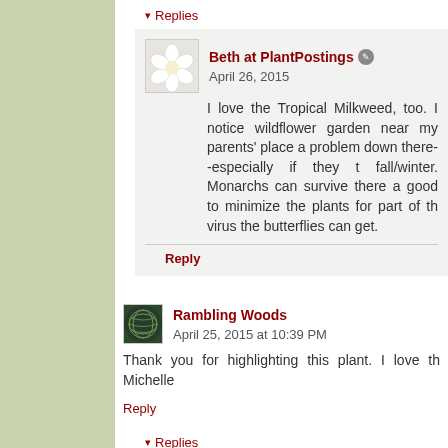▾ Replies
Beth at PlantPostings 🔘 April 26, 2015 — I love the Tropical Milkweed, too. I notice wildflower garden near my parents' place a problem down there--especially if they fall/winter. Monarchs can survive there a good to minimize the plants for part of the virus the butterflies can get.
Reply
Rambling Woods April 25, 2015 at 10:39 PM — Thank you for highlighting this plant. I love th Michelle
Reply
▾ Replies
Beth at PlantPostings 🔘 April 26, 2015